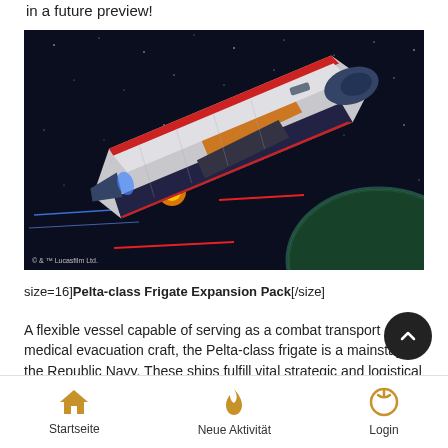in a future preview!
[Figure (illustration): Digital concept art of a Pelta-class frigate spaceship flying through space, showing a large white and red angular spacecraft with orange striping, set against a dark starfield background with a planet visible at bottom right. Laser fire and explosions visible. Copyright © & TM Lucasfilm Ltd. watermark at lower left.]
size=16]Pelta-class Frigate Expansion Pack[/size]
A flexible vessel capable of serving as a combat transport or medical evacuation craft, the Pelta-class frigate is a mainstay of the Republic Navy. These ships fulfill vital strategic and logistical